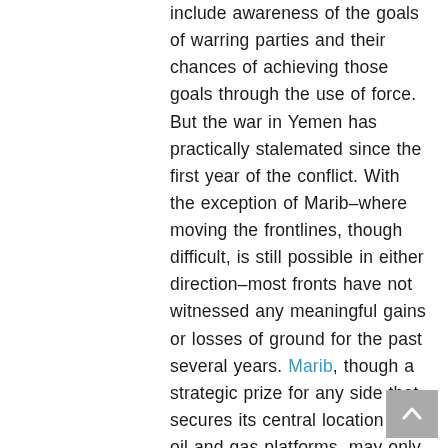include awareness of the goals of warring parties and their chances of achieving those goals through the use of force. But the war in Yemen has practically stalemated since the first year of the conflict. With the exception of Marib–where moving the frontlines, though difficult, is still possible in either direction–most fronts have not witnessed any meaningful gains or losses of ground for the past several years. Marib, though a strategic prize for any side that secures its central location and oil and gas platforms, may only be won by the Houthis after several more months and several hundred more casualties among their fighters. For those fighting under the banner of President Hadi that allegiance...